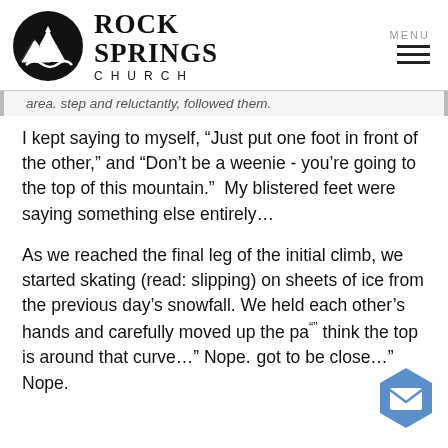Rock Springs Church
area. step and reluctantly, followed them.
I kept saying to myself, “Just put one foot in front of the other,” and “Don’t be a weenie - you’re going to the top of this mountain.”  My blistered feet were saying something else entirely…
As we reached the final leg of the initial climb, we started skating (read: slipping) on sheets of ice from the previous day’s snowfall. We held each other’s hands and carefully moved up the pa“” think the top is around that curve…” Nope. got to be close…” Nope.